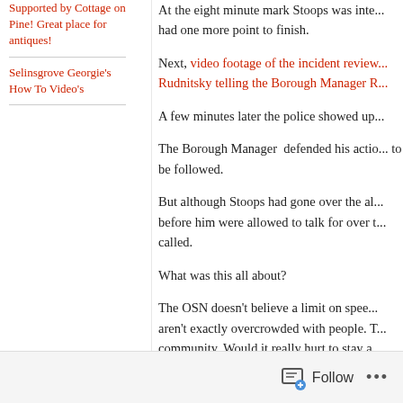Supported by Cottage on Pine! Great place for antiques!
Selinsgrove Georgie's How To Video's
At the eight minute mark Stoops was inte... had one more point to finish.
Next, video footage of the incident review... Rudnitsky telling the Borough Manager R...
A few minutes later the police showed up...
The Borough Manager  defended his actio... to be followed.
But although Stoops had gone over the al... before him were allowed to talk for over t... called.
What was this all about?
The OSN doesn't believe a limit on spee... aren't exactly overcrowded with people. T... community. Would it really hurt to stay a...
Follow  •••